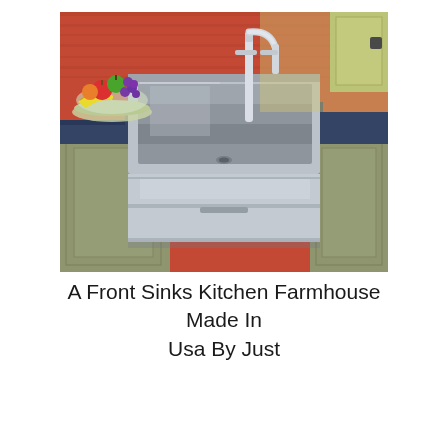[Figure (photo): A stainless steel farmhouse apron-front kitchen sink installed in a kitchen with dark blue/slate countertops, olive/sage green cabinets, red/orange wood paneling on the wall, a chrome faucet, and a bowl of fruit (apples, grapes, bananas, orange) on the left side of the counter.]
A Front Sinks Kitchen Farmhouse Made In Usa By Just